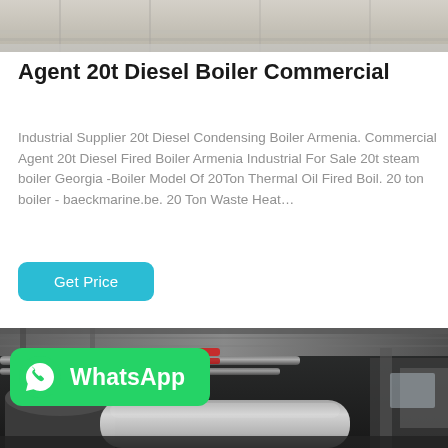[Figure (photo): Top portion of an industrial boiler facility, showing ceiling structure and equipment]
Agent 20t Diesel Boiler Commercial
Industrial Supplier 20t Diesel Condensing Boiler Armenia. Commercial Agent 20t Diesel Fired Boiler Armenia Industrial For Sale 20t steam boiler Georgia -Boiler Model Of 20Ton Thermal Oil Fired Boil. 20 ton boiler - baeckmarine.be. 20 Ton Waste Heat…
[Figure (photo): Interior of an industrial boiler room showing large cylindrical boilers, pipes, and metal ductwork with red accent pipes overhead]
[Figure (logo): WhatsApp contact button in green with WhatsApp logo icon and text 'WhatsApp']